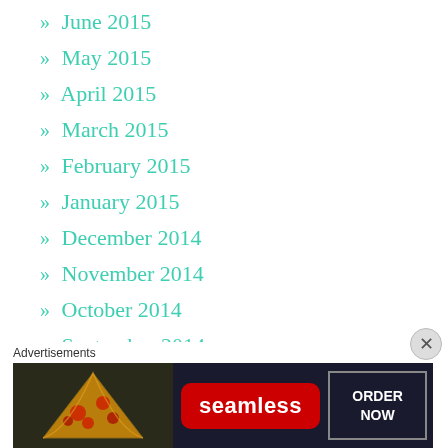» June 2015
» May 2015
» April 2015
» March 2015
» February 2015
» January 2015
» December 2014
» November 2014
» October 2014
» September 2014
» August 2014
» July 2014
Advertisements
[Figure (infographic): Seamless food delivery advertisement banner with pizza image on left, red Seamless logo in center, and ORDER NOW button on right with dark background]